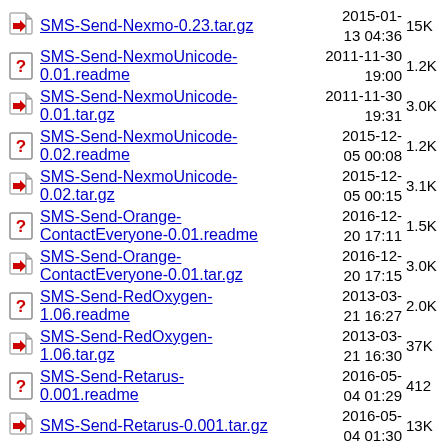SMS-Send-Nexmo-0.23.tar.gz  2015-01-13 04:36  15K
SMS-Send-NexmoUnicode-0.01.readme  2011-11-30 19:00  1.2K
SMS-Send-NexmoUnicode-0.01.tar.gz  2011-11-30 19:31  3.0K
SMS-Send-NexmoUnicode-0.02.readme  2015-12-05 00:08  1.2K
SMS-Send-NexmoUnicode-0.02.tar.gz  2015-12-05 00:15  3.1K
SMS-Send-Orange-ContactEveryone-0.01.readme  2016-12-20 17:11  1.5K
SMS-Send-Orange-ContactEveryone-0.01.tar.gz  2016-12-20 17:15  3.0K
SMS-Send-RedOxygen-1.06.readme  2013-03-21 16:27  2.0K
SMS-Send-RedOxygen-1.06.tar.gz  2013-03-21 16:30  37K
SMS-Send-Retarus-0.001.readme  2016-05-04 01:29  412
SMS-Send-Retarus-0.001.tar.gz  2016-05-04 01:30  13K